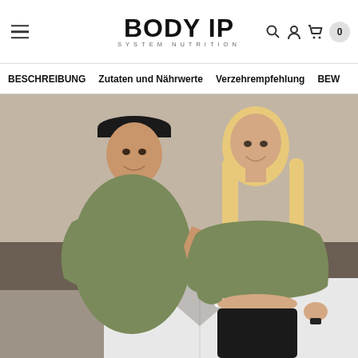BODY IP SYSTEM NUTRITION
BESCHREIBUNG  Zutaten und Nährwerte  Verzehrempfehlung  BEW
[Figure (photo): A man wearing a black cap and olive t-shirt and a woman wearing an olive crop top and black pants standing in a modern kitchen, both smiling. The man is holding two supplement containers toward the woman.]